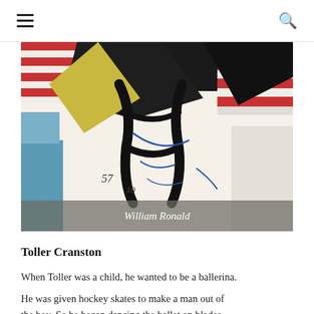≡  🔍
[Figure (illustration): Abstract expressionist painting with bold black strokes, red and white horizontal stripes on the right, blue section on the left, cream/white center with gestural marks and numbers. Caption overlay reads 'William Ronald'.]
William Ronald
Toller Cranston
When Toller was a child, he wanted to be a ballerina.
He was given hockey skates to make a man out of the boy. So he began dancing the ballet on blades,